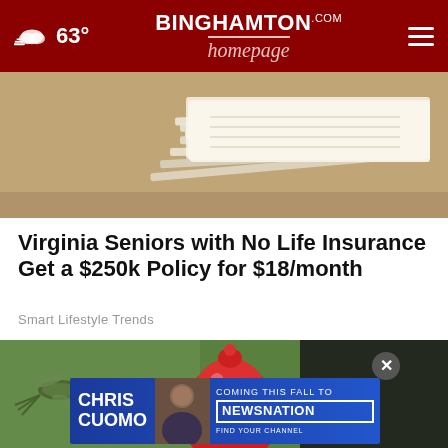63° | BINGHAMTON homepage
[Figure (photo): Stack of papers/documents on a brown surface]
Virginia Seniors with No Life Insurance Get a $250k Policy for $18/month
Smart Lifestyle Trends
[Figure (photo): Hummingbird hovering next to a colorful red blown-glass ornament/vase on a green background]
[Figure (photo): Advertisement banner: CHRIS CUOMO COMING THIS FALL TO NEWSNATION FIND YOUR CHANNEL]